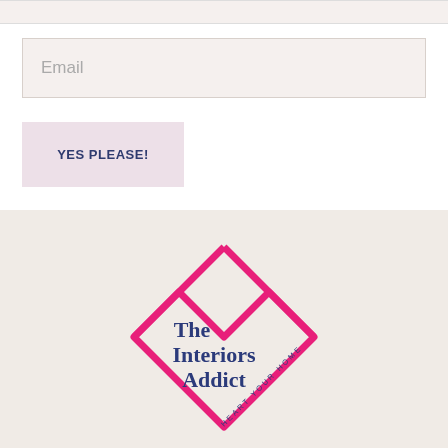Email
YES PLEASE!
[Figure (logo): The Interiors Addict logo: a hot-pink outlined diamond/heart shape with the text 'The Interiors Addict' in dark navy serif font inside, and 'HEART YOUR HOME' in small spaced dark letters along the lower-right edge of the diamond.]